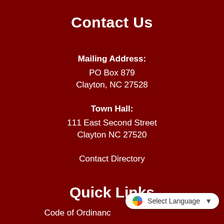Contact Us
Mailing Address:
PO Box 879
Clayton, NC 27528
Town Hall:
111 East Second Street
Clayton NC 27520
Contact Directory
Quick Links
Code of Ordinances
Save Money & Conserve Energy